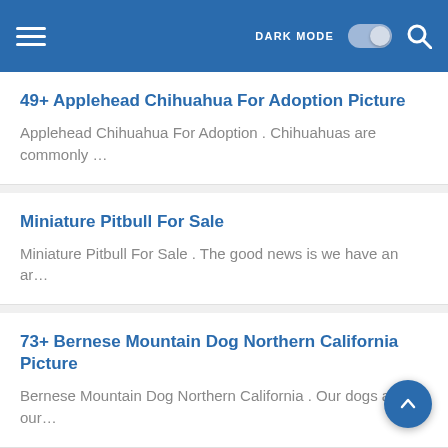DARK MODE [toggle] [search]
49+ Applehead Chihuahua For Adoption Picture
Applehead Chihuahua For Adoption . Chihuahuas are commonly …
Miniature Pitbull For Sale
Miniature Pitbull For Sale . The good news is we have an ar…
73+ Bernese Mountain Dog Northern California Picture
Bernese Mountain Dog Northern California . Our dogs are our…
Bloodhound Gang Show Us Your Hits Cover Model